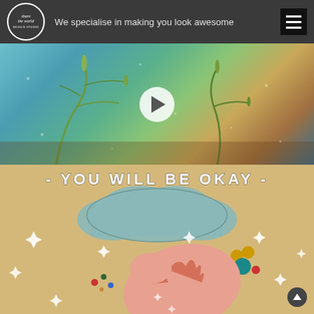[Figure (logo): Circular logo with text 'share the world design studio' in white on dark background]
We specialise in making you look awesome
[Figure (screenshot): Video thumbnail showing underwater plant/reed scene with a play button overlay]
[Figure (illustration): Colorful illustration on sandy/tan background with text '- YOU WILL BE OKAY' and a cloud, sparkles, colorful dots, and a pink curled figure/creature]